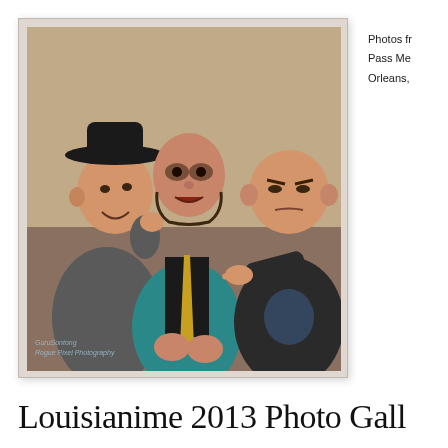[Figure (photo): Three men posing for a photo indoors. Left man wears a black fedora hat and grey t-shirt. Center man wears a teal/turquoise jacket with a gold tie and has theatrical makeup. Right man is bald and wearing a black t-shirt, pointing finger guns. Watermark text reads 'GuruSontong' and 'Rogue Pixel Photography' in lower left corner.]
Photos fr
Pass Me
Orleans,
Louisianime 2013 Photo Gall